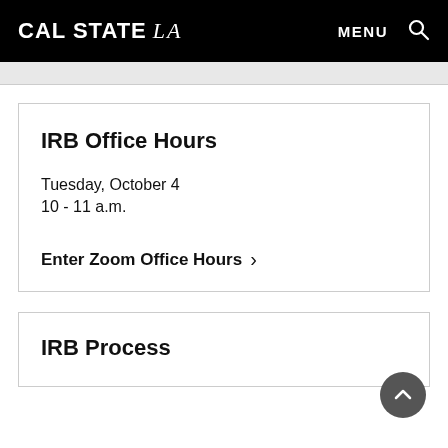CAL STATE LA — MENU
IRB Office Hours
Tuesday, October 4
10 - 11 a.m.
Enter Zoom Office Hours ›
IRB Process